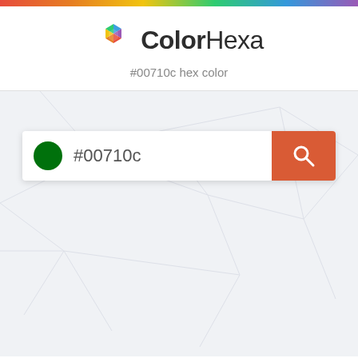[Figure (logo): ColorHexa logo with rainbow hexagon icon and text 'ColorHexa']
#00710c hex color
[Figure (screenshot): Search bar with green circle color swatch, text '#00710c', and orange search button with magnifying glass icon]